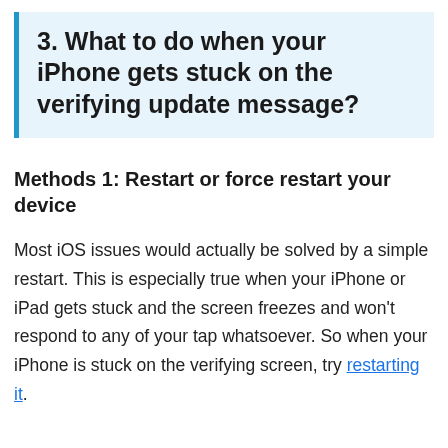3. What to do when your iPhone gets stuck on the verifying update message?
Methods 1: Restart or force restart your device
Most iOS issues would actually be solved by a simple restart. This is especially true when your iPhone or iPad gets stuck and the screen freezes and won't respond to any of your tap whatsoever. So when your iPhone is stuck on the verifying screen, try restarting it.